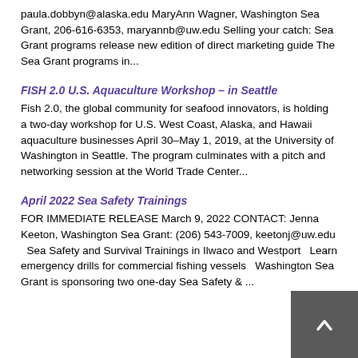paula.dobbyn@alaska.edu MaryAnn Wagner, Washington Sea Grant, 206-616-6353, maryannb@uw.edu Selling your catch: Sea Grant programs release new edition of direct marketing guide The Sea Grant programs in...
FISH 2.0 U.S. Aquaculture Workshop – in Seattle
Fish 2.0, the global community for seafood innovators, is holding a two-day workshop for U.S. West Coast, Alaska, and Hawaii aquaculture businesses April 30–May 1, 2019, at the University of Washington in Seattle. The program culminates with a pitch and networking session at the World Trade Center...
April 2022 Sea Safety Trainings
FOR IMMEDIATE RELEASE March 9, 2022 CONTACT: Jenna Keeton, Washington Sea Grant: (206) 543-7009, keetonj@uw.edu   Sea Safety and Survival Trainings in Ilwaco and Westport   Learn emergency drills for commercial fishing vessels   Washington Sea Grant is sponsoring two one-day Sea Safety & ...